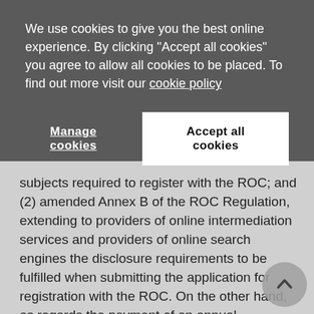We use cookies to give you the best online experience. By clicking "Accept all cookies" you agree to allow all cookies to be placed. To find out more visit our cookie policy
Manage cookies
Accept all cookies
subjects required to register with the ROC; and (2) amended Annex B of the ROC Regulation, extending to providers of online intermediation services and providers of online search engines the disclosure requirements to be fulfilled when submitting the application for registration with the ROC. On the other hand, as regards the payment of an annual contribution, AGCOM has not yet adopted the resolution implementing Article 1, Paragraph 517 of the 2021 Budget Law, which